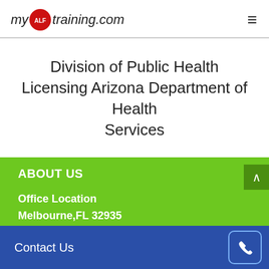myALFtraining.com
Division of Public Health Licensing Arizona Department of Health Services
ABOUT US
Office Location
Contact Us
Melbourne,FL 32935